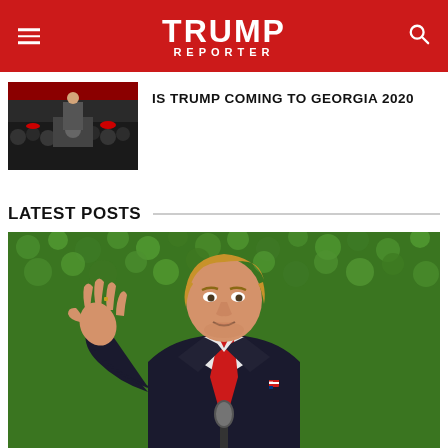TRUMP REPORTER
[Figure (photo): Trump speaking at a rally at a podium with crowd in background]
IS TRUMP COMING TO GEORGIA 2020
LATEST POSTS
[Figure (photo): Donald Trump in dark suit with red tie, raising hand in front of a green hedge/ivy wall background, speaking at a microphone]